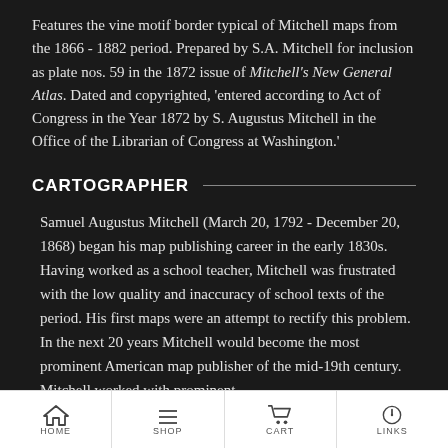Features the vine motif border typical of Mitchell maps from the 1866 - 1882 period. Prepared by S.A. Mitchell for inclusion as plate nos. 59 in the 1872 issue of Mitchell's New General Atlas. Dated and copyrighted, 'entered according to Act of Congress in the Year 1872 by S. Augustus Mitchell in the Office of the Librarian of Congress at Washington.'
CARTOGRAPHER
Samuel Augustus Mitchell (March 20, 1792 - December 20, 1868) began his map publishing career in the early 1830s. Having worked as a school teacher, Mitchell was frustrated with the low quality and inaccuracy of school texts of the period. His first maps were an attempt to rectify this problem. In the next 20 years Mitchell would become the most prominent American map publisher of the mid-19th century. Mitchell worked with prominent
HOME  SHOP  CART  LINKS